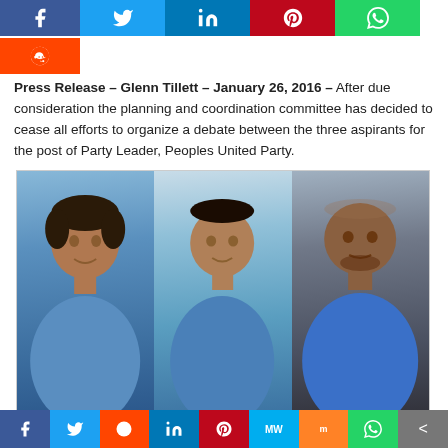[Figure (other): Social media share buttons row: Facebook (blue), Twitter (light blue), LinkedIn (dark blue), Pinterest (red), WhatsApp (green), Reddit (orange)]
Press Release – Glenn Tillett – January 26, 2016 – After due consideration the planning and coordination committee has decided to cease all efforts to organize a debate between the three aspirants for the post of Party Leader, Peoples United Party.
[Figure (photo): Three men in blue shirts side by side – candidates for Party Leader, Peoples United Party]
Two of the candidates failed to respond to formally inform the committee of their intention to appear as scheduled by the close of business late
[Figure (other): Social media share buttons bottom bar: Facebook, Twitter, Reddit, LinkedIn, Pinterest, MW, Mix, WhatsApp, Share]